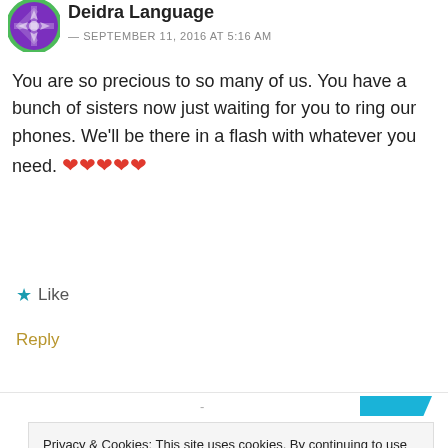[Figure (illustration): Circular avatar with purple/green snowflake pattern background]
Deidra Language
— SEPTEMBER 11, 2016 AT 5:16 AM
You are so precious to so many of us. You have a bunch of sisters now just waiting for you to ring our phones. We'll be there in a flash with whatever you need. ❤❤❤❤❤
★ Like
Reply
Privacy & Cookies: This site uses cookies. By continuing to use this website, you agree to their use.
To find out more, including how to control cookies, see here: Cookie Policy
Close and accept